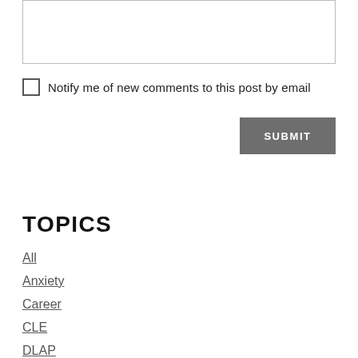[textarea input box]
Notify me of new comments to this post by email
SUBMIT
TOPICS
All
Anxiety
Career
CLE
DLAP
Goals